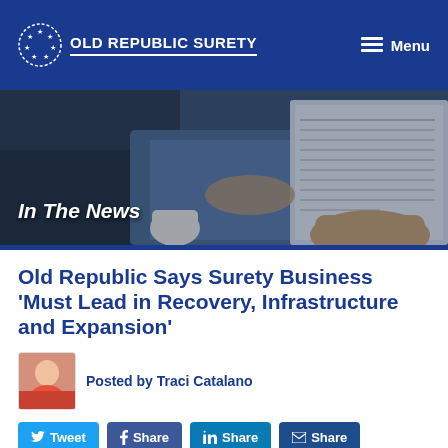OLD REPUBLIC SURETY | Menu
[Figure (photo): Hero banner showing hands reviewing documents at a desk with coffee cup, labeled 'In The News']
Old Republic Says Surety Business 'Must Lead in Recovery, Infrastructure and Expansion'
Posted by Traci Catalano
Tweet | Share | Share | Share